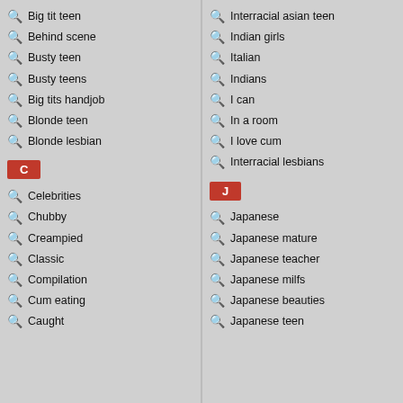Big tit teen
Behind scene
Busty teen
Busty teens
Big tits handjob
Blonde teen
Blonde lesbian
C
Celebrities
Chubby
Creampied
Classic
Compilation
Cum eating
Caught
Interracial asian teen
Indian girls
Italian
Indians
I can
In a room
I love cum
Interracial lesbians
J
Japanese
Japanese mature
Japanese teacher
Japanese milfs
Japanese beauties
Japanese teen